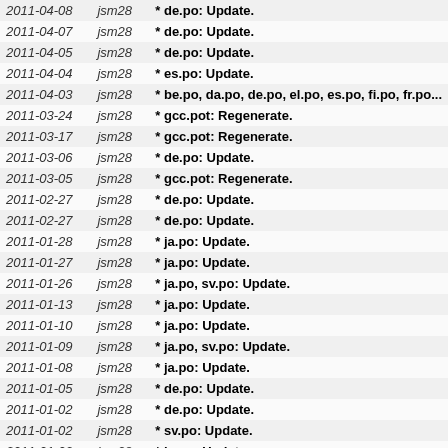| Date | User | Message |
| --- | --- | --- |
| 2011-04-08 | jsm28 | * de.po: Update. |
| 2011-04-07 | jsm28 | * de.po: Update. |
| 2011-04-05 | jsm28 | * de.po: Update. |
| 2011-04-04 | jsm28 | * es.po: Update. |
| 2011-04-03 | jsm28 | * be.po, da.po, de.po, el.po, es.po, fi.po, fr.po... |
| 2011-03-24 | jsm28 | * gcc.pot: Regenerate. |
| 2011-03-17 | jsm28 | * gcc.pot: Regenerate. |
| 2011-03-06 | jsm28 | * de.po: Update. |
| 2011-03-05 | jsm28 | * gcc.pot: Regenerate. |
| 2011-02-27 | jsm28 | * de.po: Update. |
| 2011-02-27 | jsm28 | * de.po: Update. |
| 2011-01-28 | jsm28 | * ja.po: Update. |
| 2011-01-27 | jsm28 | * ja.po: Update. |
| 2011-01-26 | jsm28 | * ja.po, sv.po: Update. |
| 2011-01-13 | jsm28 | * ja.po: Update. |
| 2011-01-10 | jsm28 | * ja.po: Update. |
| 2011-01-09 | jsm28 | * ja.po, sv.po: Update. |
| 2011-01-08 | jsm28 | * ja.po: Update. |
| 2011-01-05 | jsm28 | * de.po: Update. |
| 2011-01-02 | jsm28 | * de.po: Update. |
| 2011-01-02 | jsm28 | * sv.po: Update. |
| 2011-01-02 | jsm28 | * ja.po: Update. |
| 2011-01-01 | jsm28 | * ja.po: Update. |
| 2010-12-31 | jsm28 | * ja.po: Update. |